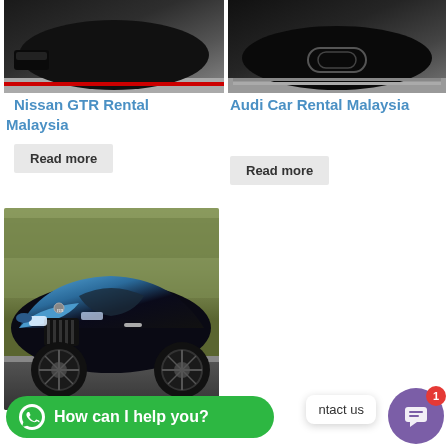[Figure (photo): Top portion of dark sports car (Nissan GTR) with red accent stripe]
[Figure (photo): Top portion of dark Audi sports car]
Nissan GTR Rental Malaysia
Audi Car Rental Malaysia
Read more
Read more
[Figure (photo): Rolls-Royce Wraith in two-tone blue and black color parked outdoors]
How can I help you?
ntact us